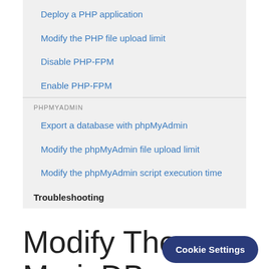Deploy a PHP application
Modify the PHP file upload limit
Disable PHP-FPM
Enable PHP-FPM
PHPMYADMIN
Export a database with phpMyAdmin
Modify the phpMyAdmin file upload limit
Modify the phpMyAdmin script execution time
Troubleshooting
Modify The MariaDB